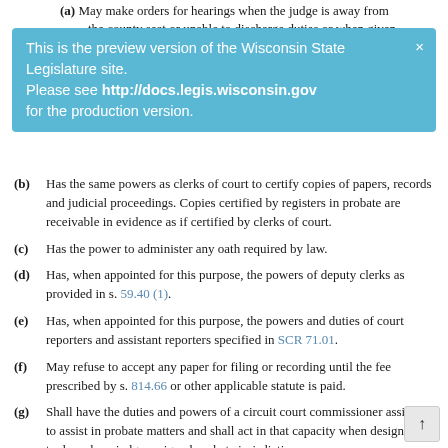(a) May make orders for hearings when the judge is away from the county seat or unable to discharge duties or when given...
This is the preview version of the Wisconsin State Legislature site. Please see http://docs.legis.wisconsin.gov for the production version.
(b) Has the same powers as clerks of court to certify copies of papers, records and judicial proceedings. Copies certified by registers in probate are receivable in evidence as if certified by clerks of court.
(c) Has the power to administer any oath required by law.
(d) Has, when appointed for this purpose, the powers of deputy clerks as provided in s. 59.40 (1).
(e) Has, when appointed for this purpose, the powers and duties of court reporters and assistant reporters specified in SCR 71.01.
(f) May refuse to accept any paper for filing or recording until the fee prescribed by s. 814.66 or other applicable statute is paid.
(g) Shall have the duties and powers of a circuit court commissioner assigned to assist in probate matters and shall act in that capacity when designated to do so by a judge assigned probate jurisdiction.
(2) Subsection (1) applies to duly authorized deputy registers in...